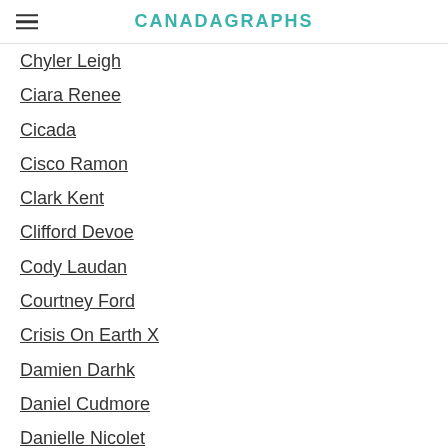CANADAGRAPHS
Chyler Leigh
Ciara Renee
Cicada
Cisco Ramon
Clark Kent
Clifford Devoe
Cody Laudan
Courtney Ford
Crisis On Earth X
Damien Darhk
Daniel Cudmore
Danielle Nicolet
Danielle Panabaker
Danny Trejo
David Dastmalchian